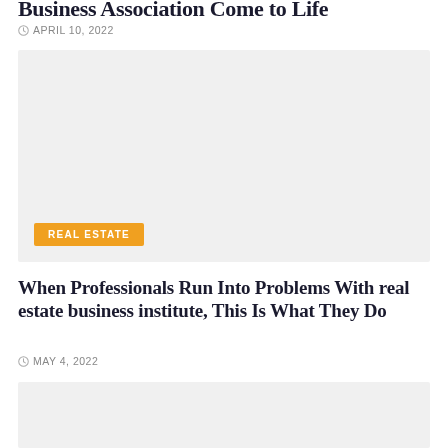Business Association Come to Life
APRIL 10, 2022
[Figure (photo): Gray placeholder image with orange REAL ESTATE badge overlay]
When Professionals Run Into Problems With real estate business institute, This Is What They Do
MAY 4, 2022
[Figure (photo): Gray placeholder image at bottom of page]